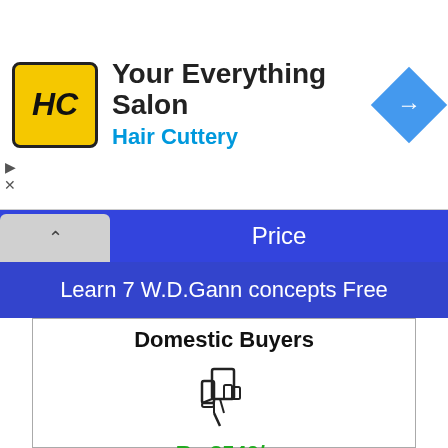[Figure (logo): Hair Cuttery ad banner with HC logo, title 'Your Everything Salon', subtitle 'Hair Cuttery', and a blue navigation diamond icon]
Price
Learn 7 W.D.Gann concepts Free
Domestic Buyers
[Figure (illustration): Thumbs down / pointer icon in dark outline]
Rs.3540/-
Click here for all bank transfer payment options(NEFT, IMPS & UPI)
Buy Gann Course @ ₹3540
For International Buyers, Please refer Price Tab for